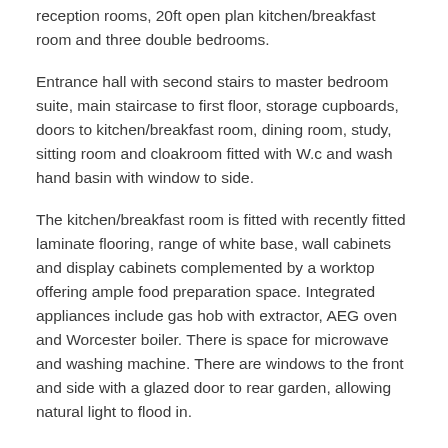reception rooms, 20ft open plan kitchen/breakfast room and three double bedrooms.
Entrance hall with second stairs to master bedroom suite, main staircase to first floor, storage cupboards, doors to kitchen/breakfast room, dining room, study, sitting room and cloakroom fitted with W.c and wash hand basin with window to side.
The kitchen/breakfast room is fitted with recently fitted laminate flooring, range of white base, wall cabinets and display cabinets complemented by a worktop offering ample food preparation space. Integrated appliances include gas hob with extractor, AEG oven and Worcester boiler. There is space for microwave and washing machine. There are windows to the front and side with a glazed door to rear garden, allowing natural light to flood in.
The sitting room has a log burner and double doors